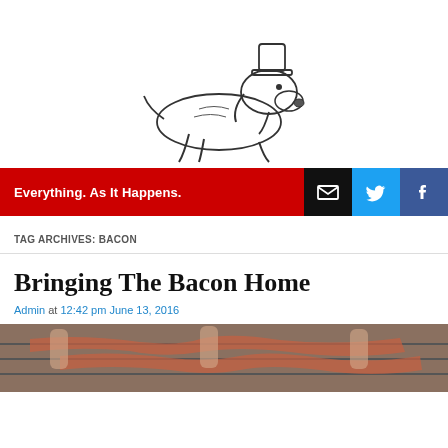[Figure (illustration): Line drawing of a bloodhound dog wearing a top hat, lying down, viewed from front-left angle]
Everything. As It Happens.
TAG ARCHIVES: BACON
Bringing The Bacon Home
Admin at 12:42 pm June 13, 2016
[Figure (photo): Hands handling raw bacon strips on a grill rack]